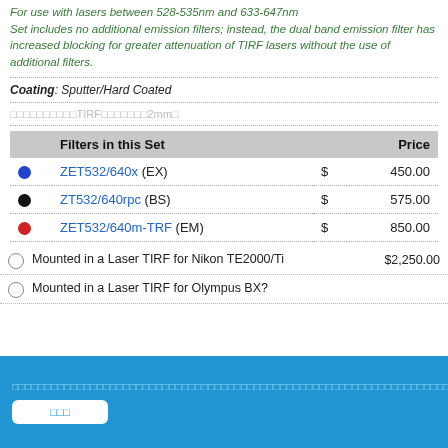For use with lasers between 528-535nm and 633-647nm Set includes no additional emission filters; instead, the dual band emission filter has increased blocking for greater attenuation of TIRF lasers without the use of additional filters.
Coating: Sputter/Hard Coated
[garbled TIRF text]
|  | Filters in this Set |  | Price |
| --- | --- | --- | --- |
| (blue dot) | ZET532/640x (EX) | $ | 450.00 |
| (black dot) | ZT532/640rpc (BS) | $ | 575.00 |
| (red dot) | ZET532/640m-TRF (EM) | $ | 850.00 |
Mounted in a Laser TIRF for Nikon TE2000/Ti   $2,250.00
Mounted in a Laser TIRF for Olympus BX?
[footer garbled text / button]